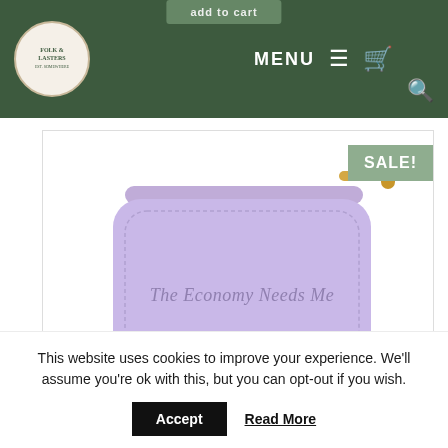MENU (navigation bar with logo, menu, cart, search)
[Figure (photo): A lavender/purple coin purse with gold zipper pull, with script text reading 'The Economy Needs Me' on the front, shown on white background with a green SALE! badge in top right corner]
This website uses cookies to improve your experience. We'll assume you're ok with this, but you can opt-out if you wish.
Accept   Read More